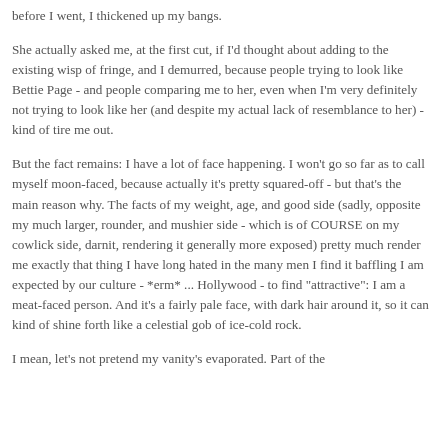before I went, I thickened up my bangs.
She actually asked me, at the first cut, if I'd thought about adding to the existing wisp of fringe, and I demurred, because people trying to look like Bettie Page - and people comparing me to her, even when I'm very definitely not trying to look like her (and despite my actual lack of resemblance to her) - kind of tire me out.
But the fact remains: I have a lot of face happening. I won't go so far as to call myself moon-faced, because actually it's pretty squared-off - but that's the main reason why. The facts of my weight, age, and good side (sadly, opposite my much larger, rounder, and mushier side - which is of COURSE on my cowlick side, darnit, rendering it generally more exposed) pretty much render me exactly that thing I have long hated in the many men I find it baffling I am expected by our culture - *erm* ... Hollywood - to find "attractive": I am a meat-faced person. And it's a fairly pale face, with dark hair around it, so it can kind of shine forth like a celestial gob of ice-cold rock.
I mean, let's not pretend my vanity's evaporated. Part of the